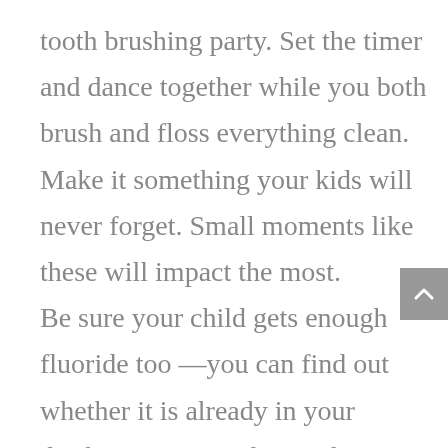tooth brushing party. Set the timer and dance together while you both brush and floss everything clean. Make it something your kids will never forget. Small moments like these will impact the most. Be sure your child gets enough fluoride too —you can find out whether it is already in your drinking water, and provide supplements if it is not. If you are unsure how to get more fluoride,